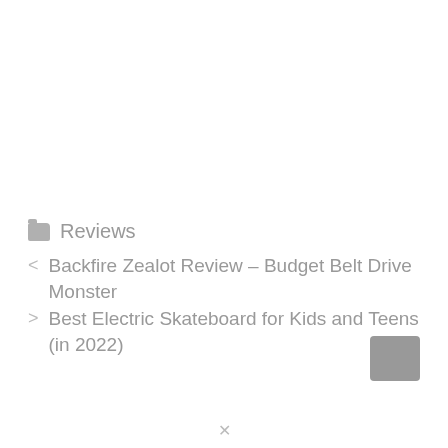Reviews
< Backfire Zealot Review – Budget Belt Drive Monster
> Best Electric Skateboard for Kids and Teens (in 2022)